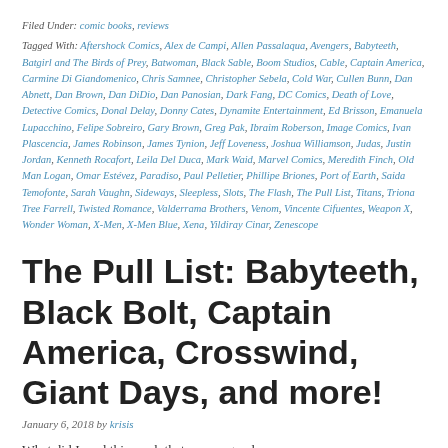Filed Under: comic books, reviews
Tagged With: Aftershock Comics, Alex de Campi, Allen Passalaqua, Avengers, Babyteeth, Batgirl and The Birds of Prey, Batwoman, Black Sable, Boom Studios, Cable, Captain America, Carmine Di Giandomenico, Chris Samnee, Christopher Sebela, Cold War, Cullen Bunn, Dan Abnett, Dan Brown, Dan DiDio, Dan Panosian, Dark Fang, DC Comics, Death of Love, Detective Comics, Donal Delay, Donny Cates, Dynamite Entertainment, Ed Brisson, Emanuela Lupacchino, Felipe Sobreiro, Gary Brown, Greg Pak, Ibraim Roberson, Image Comics, Ivan Plascencia, James Robinson, James Tynion, Jeff Loveness, Joshua Williamson, Judas, Justin Jordan, Kenneth Rocafort, Leila Del Duca, Mark Waid, Marvel Comics, Meredith Finch, Old Man Logan, Omar Estévez, Paradiso, Paul Pelletier, Phillipe Briones, Port of Earth, Saida Temofonte, Sarah Vaughn, Sideways, Sleepless, Slots, The Flash, The Pull List, Titans, Triona Tree Farrell, Twisted Romance, Valderrama Brothers, Venom, Vincente Cifuentes, Weapon X, Wonder Woman, X-Men, X-Men Blue, Xena, Yildiray Cinar, Zenescope
The Pull List: Babyteeth, Black Bolt, Captain America, Crosswind, Giant Days, and more!
January 6, 2018 by krisis
What did I read this week that was so good, or so...